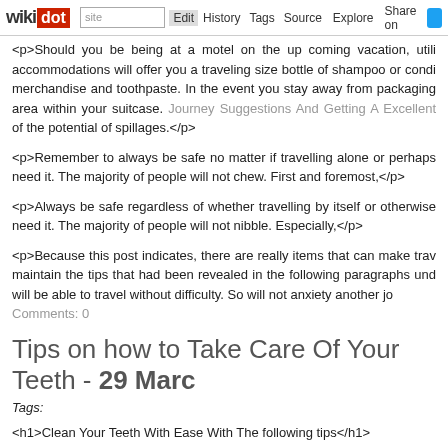wikidot | site | Edit | History | Tags | Source | Explore | Share on [Twitter]
<p>Should you be being at a motel on the up coming vacation, utili accommodations will offer you a traveling size bottle of shampoo or condi merchandise and toothpaste. In the event you stay away from packaging area within your suitcase. Journey Suggestions And Getting A Excellent of the potential of spillages.</p>
<p>Remember to always be safe no matter if travelling alone or perhaps need it. The majority of people will not chew. First and foremost,</p>
<p>Always be safe regardless of whether travelling by itself or otherwise need it. The majority of people will not nibble. Especially,</p>
<p>Because this post indicates, there are really items that can make trav maintain the tips that had been revealed in the following paragraphs und will be able to travel without difficulty. So will not anxiety another jo Comments: 0
Tips on how to Take Care Of Your Teeth - 29 Marc
Tags:
<h1>Clean Your Teeth With Ease With The following tips</h1>
<p>Are you struggling with dental care? Are you on the lookout for some the place for you. The next article gives many tips and strategies concerni
<p>Eat nutritious meals and keep away from dangerous snacking fo pretzels, chips, candy and other junk meals. These kind of foods can